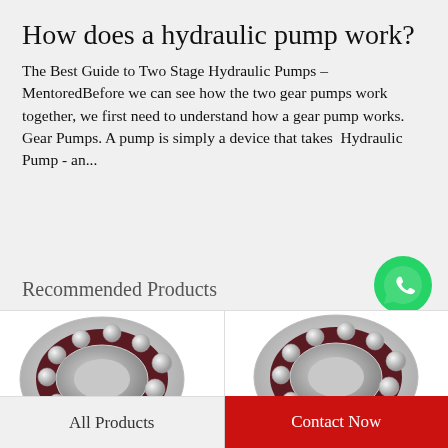How does a hydraulic pump work?
The Best Guide to Two Stage Hydraulic Pumps – MentoredBefore we can see how the two gear pumps work together, we first need to understand how a gear pump works. Gear Pumps. A pump is simply a device that takes  Hydraulic Pump - an...
Recommended Products
[Figure (photo): WhatsApp Online button with green WhatsApp logo icon]
[Figure (photo): Angular contact ball bearing shown in close-up, left product]
[Figure (photo): Angular contact ball bearing shown in close-up, right product]
All Products
Contact Now